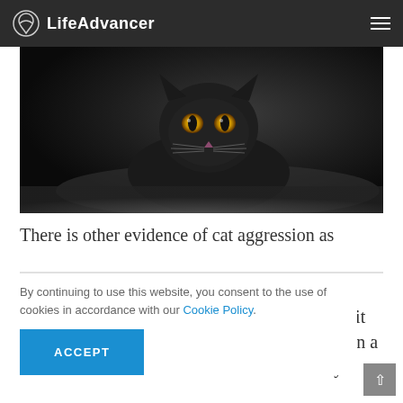LifeAdvancer
[Figure (photo): A dark black cat with yellow eyes lying low on a dark background, photographed in low-key lighting]
There is other evidence of cat aggression as
By continuing to use this website, you consent to the use of cookies in accordance with our Cookie Policy.
ACCEPT
lent efore it mily in a ility. d put in io let